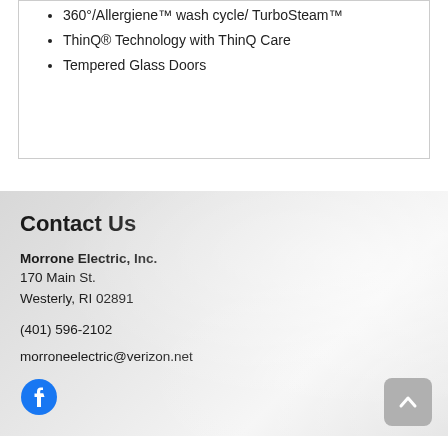360°/Allergiene™ wash cycle/ TurboSteam™
ThinQ® Technology with ThinQ Care
Tempered Glass Doors
Contact Us
Morrone Electric, Inc.
170 Main St.
Westerly, RI 02891
(401) 596-2102
morroneelectric@verizon.net
[Figure (logo): Facebook circle icon]
[Figure (other): Scroll to top button with upward chevron]